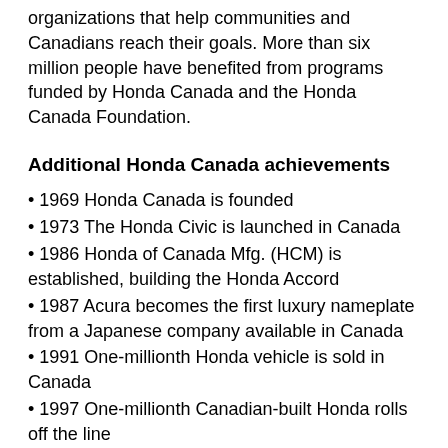organizations that help communities and Canadians reach their goals. More than six million people have benefited from programs funded by Honda Canada and the Honda Canada Foundation.
Additional Honda Canada achievements
1969 Honda Canada is founded
1973 The Honda Civic is launched in Canada
1986 Honda of Canada Mfg. (HCM) is established, building the Honda Accord
1987 Acura becomes the first luxury nameplate from a Japanese company available in Canada
1991 One-millionth Honda vehicle is sold in Canada
1997 One-millionth Canadian-built Honda rolls off the line
1998 HCM begins building the Honda Odyssey